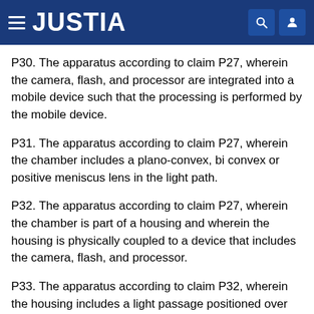JUSTIA
P30. The apparatus according to claim P27, wherein the camera, flash, and processor are integrated into a mobile device such that the processing is performed by the mobile device.
P31. The apparatus according to claim P27, wherein the chamber includes a plano-convex, bi convex or positive meniscus lens in the light path.
P32. The apparatus according to claim P27, wherein the chamber is part of a housing and wherein the housing is physically coupled to a device that includes the camera, flash, and processor.
P33. The apparatus according to claim P32, wherein the housing includes a light passage positioned over the flash.